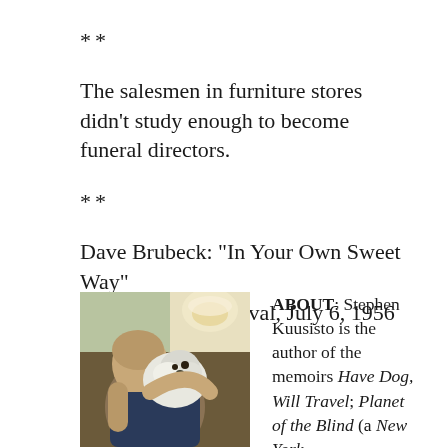**
The salesmen in furniture stores didn't study enough to become funeral directors.
**
Dave Brubeck: “In Your Own Sweet Way” Newport Jazz Festival, July 6, 1956
[Figure (photo): A person hugging a small fluffy dog, sitting in a chair indoors.]
ABOUT: Stephen Kuusisto is the author of the memoirs Have Dog, Will Travel; Planet of the Blind (a New York